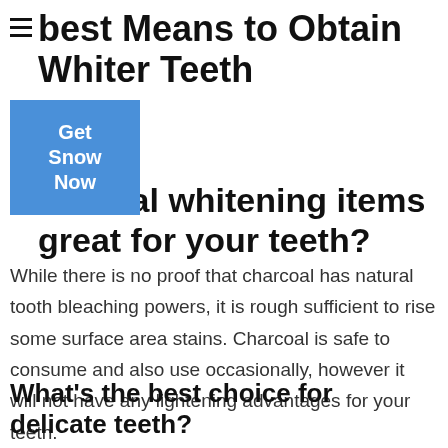best Means to Obtain Whiter Teeth
[Figure (other): Blue button overlay with white text reading 'Get Snow Now']
harcoal whitening items great for your teeth?
While there is no proof that charcoal has natural tooth bleaching powers, it is rough sufficient to rise some surface area stains. Charcoal is safe to consume and also use occasionally, however it will not have any lightening advantages for your teeth.
What's the best choice for delicate teeth?